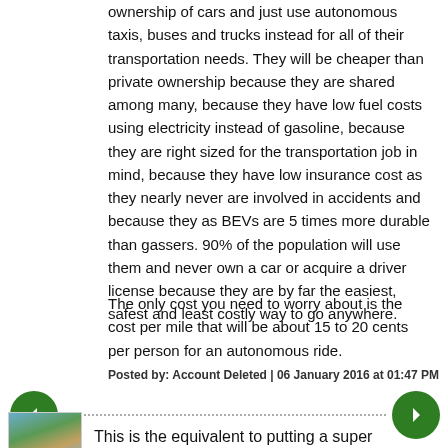ownership of cars and just use autonomous taxis, buses and trucks instead for all of their transportation needs. They will be cheaper than private ownership because they are shared among many, because they have low fuel costs using electricity instead of gasoline, because they are right sized for the transportation job in mind, because they have low insurance cost as they nearly never are involved in accidents and because they as BEVs are 5 times more durable than gassers. 90% of the population will use them and never own a car or acquire a driver license because they are by far the easiest, safest and least costly way to go anywhere.
The only cost you need to worry about is the cost per mile that will be about 15 to 20 cents per person for an autonomous ride.
Posted by: Account Deleted | 06 January 2016 at 01:47 PM
[Figure (other): Navigation buttons: left arrow (green circle) and right arrow (green circle) with dotted line between them]
[Figure (photo): Small thumbnail photo of a landscape or outdoor scene]
This is the equivalent to putting a super